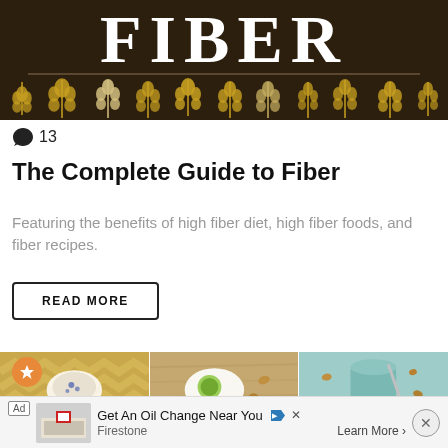[Figure (illustration): Dark brown background with large white bold text reading FIBER, decorative horizontal divider line, and multiple golden wheat/grain icons arranged in a row]
💬 13
The Complete Guide to Fiber
Featuring the benefits of high fiber diet, high fiber foods, and fiber recipes.
READ MORE
[Figure (photo): Three-column photo grid: first image shows food in bowl on chevron pattern background, second shows plate with lime and nuts on wood surface, third shows teal/turquoise cup with nuts]
[Figure (infographic): Advertisement banner: Get An Oil Change Near You - Firestone - Learn More]